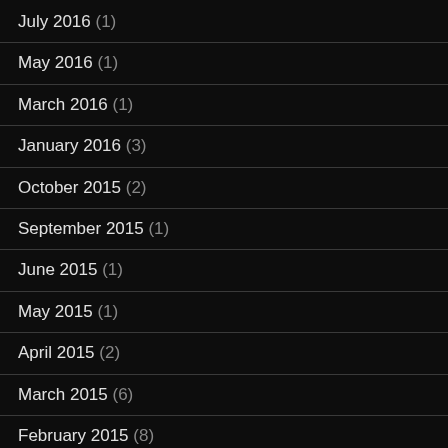July 2016 (1)
May 2016 (1)
March 2016 (1)
January 2016 (3)
October 2015 (2)
September 2015 (1)
June 2015 (1)
May 2015 (1)
April 2015 (2)
March 2015 (6)
February 2015 (8)
January 2015 (13)